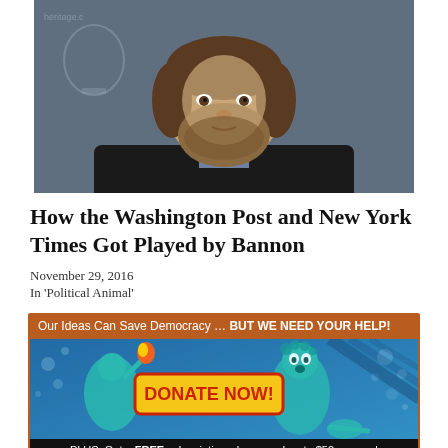[Figure (photo): Headshot photo of a bearded man in a dark jacket, against a blue/grey background with partial logo visible]
How the Washington Post and New York Times Got Played by Bannon
November 29, 2016
In 'Political Animal'
[Figure (infographic): Advertisement banner: 'Our Ideas Can Save Democracy ... BUT WE NEED YOUR HELP!' with illustrated characters and a yellow DONATE NOW! button and text 'PLUS: Get a FREE subscription when you donate $50 or more!']
TAGGED:	2016 elections, Breitbart News, Donald Trump, media